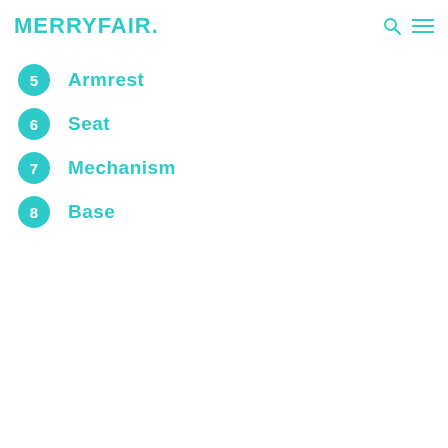MERRYFAIR.
5 Armrest
6 Seat
7 Mechanism
8 Base